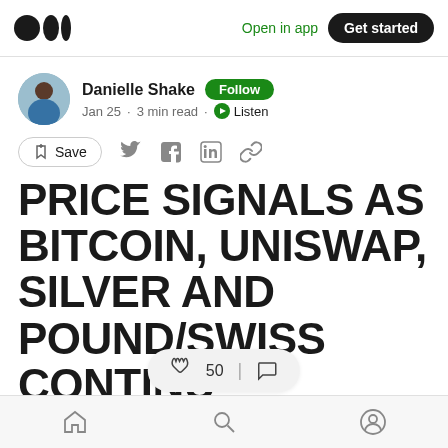Open in app  Get started
Danielle Shake  Follow
Jan 25 · 3 min read · Listen
Save
PRICE SIGNALS AS BITCOIN, UNISWAP, SILVER AND POUND/SWISS CONTINUE TO CRASH